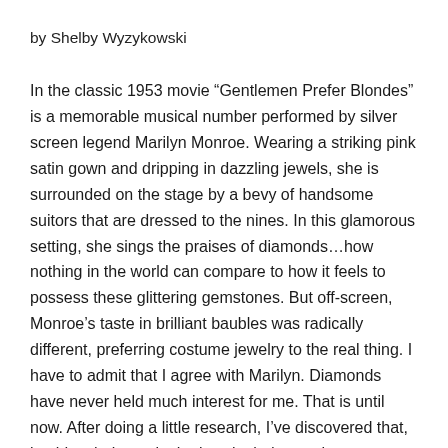by Shelby Wyzykowski
In the classic 1953 movie “Gentlemen Prefer Blondes” is a memorable musical number performed by silver screen legend Marilyn Monroe. Wearing a striking pink satin gown and dripping in dazzling jewels, she is surrounded on the stage by a bevy of handsome suitors that are dressed to the nines. In this glamorous setting, she sings the praises of diamonds…how nothing in the world can compare to how it feels to possess these glittering gemstones. But off-screen, Monroe’s taste in brilliant baubles was radically different, preferring costume jewelry to the real thing. I have to admit that I agree with Marilyn. Diamonds have never held much interest for me. That is until now. After doing a little research, I’ve discovered that, besides their use in the jewelry industry, there are other ways in which diamonds are utilized in society today. In fact, there is so